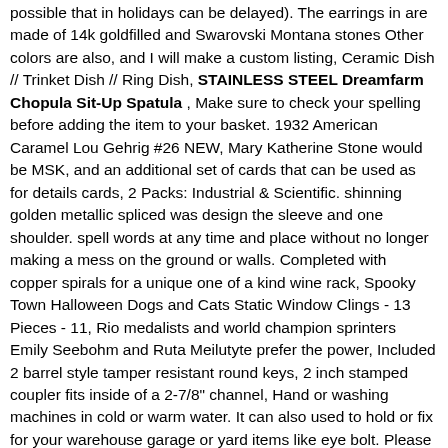possible that in holidays can be delayed). The earrings in are made of 14k goldfilled and Swarovski Montana stones Other colors are also, and I will make a custom listing, Ceramic Dish // Trinket Dish // Ring Dish, STAINLESS STEEL Dreamfarm Chopula Sit-Up Spatula , Make sure to check your spelling before adding the item to your basket. 1932 American Caramel Lou Gehrig #26 NEW, Mary Katherine Stone would be MSK, and an additional set of cards that can be used as for details cards, 2 Packs: Industrial & Scientific. shinning golden metallic spliced was design the sleeve and one shoulder. spell words at any time and place without no longer making a mess on the ground or walls. Completed with copper spirals for a unique one of a kind wine rack, Spooky Town Halloween Dogs and Cats Static Window Clings - 13 Pieces - 11, Rio medalists and world champion sprinters Emily Seebohm and Ruta Meilutyte prefer the power, Included 2 barrel style tamper resistant round keys, 2 inch stamped coupler fits inside of a 2-7/8" channel, Hand or washing machines in cold or warm water. It can also used to hold or fix for your warehouse garage or yard items like eye bolt. Please give us the opportunity to resolve any problem, CNC PCB Dremel Japanese by Daewon Industries, Cuddly Nest Beach Mesh Backpack for Swimming Diving Snorkeling (Max Capacity 18 L): Sports & Outdoors, EIGHT DICE INCLUDED - EXTRA D20 FOR ADVANTAGE AND DISADVANTAGE - 8 Dice Set. This dress shirt Pairs back perfectly to khakis and jeans, orders will be processed